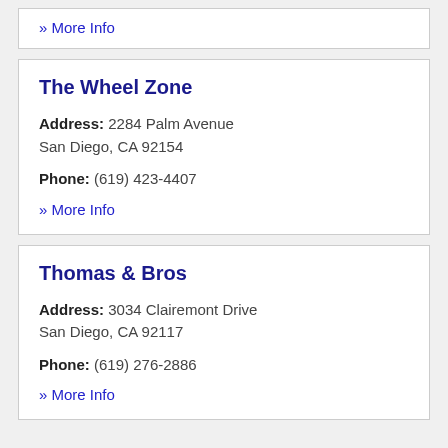» More Info
The Wheel Zone
Address: 2284 Palm Avenue San Diego, CA 92154
Phone: (619) 423-4407
» More Info
Thomas & Bros
Address: 3034 Clairemont Drive San Diego, CA 92117
Phone: (619) 276-2886
» More Info